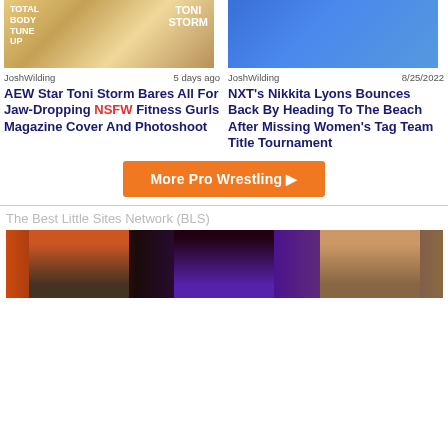[Figure (photo): Thumbnail of Toni Storm magazine cover - Fitness Gurls]
[Figure (photo): Thumbnail of Nikkita Lyons in blue outfit]
JoshWilding   5 days ago
JoshWilding   8/25/2022
AEW Star Toni Storm Bares All For Jaw-Dropping NSFW Fitness Gurls Magazine Cover And Photoshoot
NXT's Nikkita Lyons Bounces Back By Heading To The Beach After Missing Women's Tag Team Title Tournament
More Pro Wrestling ▶
The Best Little Sites Network (BLS)
[Figure (photo): Banner showing movie/TV action heroes collage]